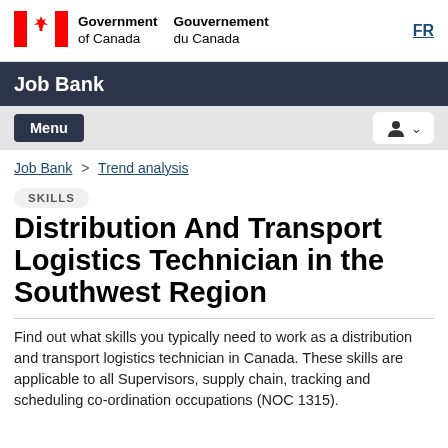Government of Canada | Gouvernement du Canada | FR
Job Bank
Menu
Job Bank > Trend analysis
SKILLS
Distribution And Transport Logistics Technician in the Southwest Region
Find out what skills you typically need to work as a distribution and transport logistics technician in Canada. These skills are applicable to all Supervisors, supply chain, tracking and scheduling co-ordination occupations (NOC 1315).